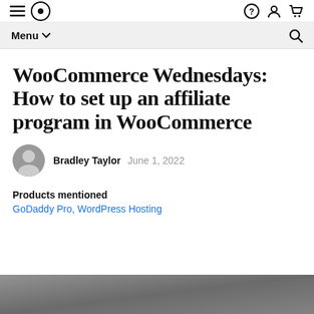Menu
WooCommerce Wednesdays: How to set up an affiliate program in WooCommerce
Bradley Taylor   June 1, 2022
Products mentioned
GoDaddy Pro, WordPress Hosting
[Figure (photo): Partial view of a grayscale photograph at the bottom of the page]